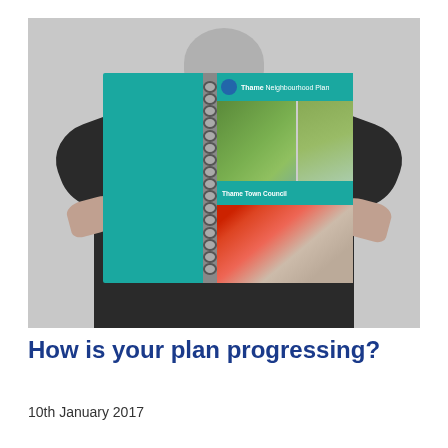[Figure (photo): A person holding up a spiral-bound Thame Neighbourhood Plan document, obscuring their face. The document cover shows a teal/turquoise left panel, a spiral binding, and the right side shows the Thame Neighbourhood Plan title header in teal, photos of green fields and a town scene, a teal bar reading 'Thame Town Council', and a photo of a market or outdoor event. The person is wearing a dark top with nail polish visible on their hands.]
How is your plan progressing?
10th January 2017